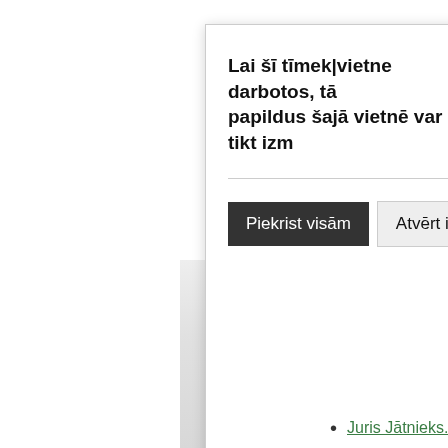[Figure (screenshot): A cookie consent modal dialog box partially visible on the right side of the page. It contains bold Latvian text reading 'Lai šī tīmekļvietne darbotos, tā... papildus šajā vietnē var tikt izm...', a horizontal divider, and two buttons: a dark 'Piekrist visām' button and a light grey 'Atvērt iestatījumus' button. Below the modal is a shadow/overlay. At the bottom right is a bullet point with a green underlined link 'Juris Jātnieks. Fin...']
Lai šī tīmekļvietne darbotos, tā... papildus šajā vietnē var tikt izm...
Piekrist visām
Atvērt iestatījumus
Juris Jātnieks. Fin...